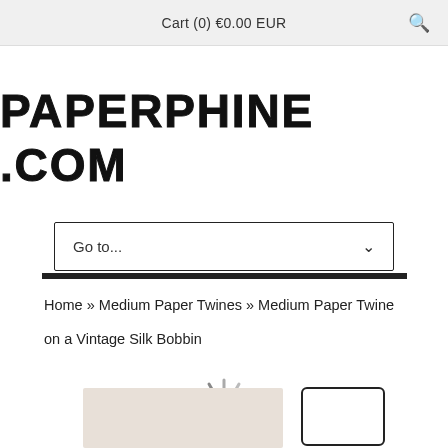Cart (0) €0.00 EUR
PAPERPHINE .COM
Go to...
Home » Medium Paper Twines » Medium Paper Twine on a Vintage Silk Bobbin
[Figure (other): Loading spinner icon (circular dashed loading indicator)]
[Figure (photo): Product photo of Medium Paper Twine on a Vintage Silk Bobbin, partially visible at bottom of page]